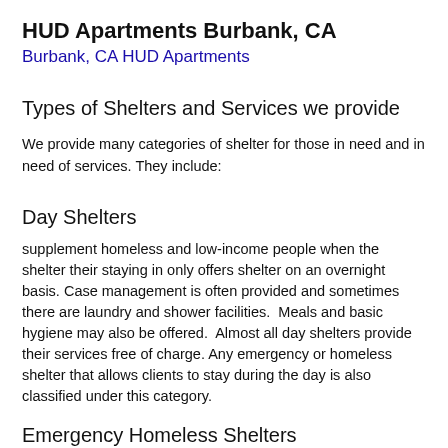HUD Apartments Burbank, CA
Burbank, CA HUD Apartments
Types of Shelters and Services we provide
We provide many categories of shelter for those in need and in need of services. They include:
Day Shelters
supplement homeless and low-income people when the shelter their staying in only offers shelter on an overnight basis. Case management is often provided and sometimes there are laundry and shower facilities.  Meals and basic hygiene may also be offered.  Almost all day shelters provide their services free of charge. Any emergency or homeless shelter that allows clients to stay during the day is also classified under this category.
Emergency Homeless Shelters
both provide short term relief for the homeless & low-income. Usually there is a maximum stay of 3 months or